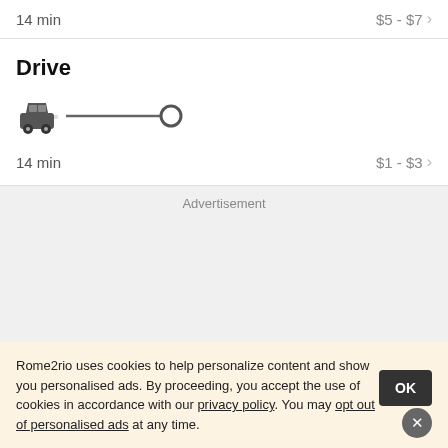14 min   $5 - $7 →
Drive
[Figure (illustration): Car icon connected to destination circle by a horizontal line, representing a driving route]
14 min   $1 - $3 →
Advertisement
Rome2rio uses cookies to help personalize content and show you personalised ads. By proceeding, you accept the use of cookies in accordance with our privacy policy. You may opt out of personalised ads at any time.